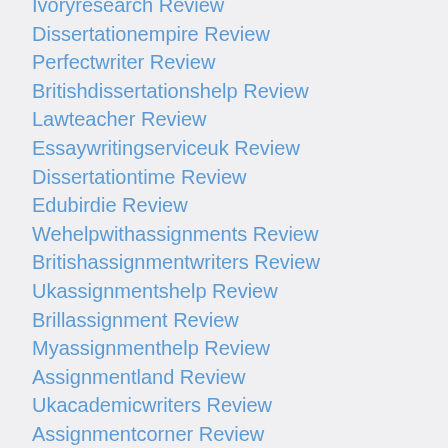Ivoryresearch Review
Dissertationempire Review
Perfectwriter Review
Britishdissertationshelp Review
Lawteacher Review
Essaywritingserviceuk Review
Dissertationtime Review
Edubirdie Review
Wehelpwithassignments Review
Britishassignmentwriters Review
Ukassignmentshelp Review
Brillassignment Review
Myassignmenthelp Review
Assignmentland Review
Ukacademicwriters Review
Assignmentcorner Review